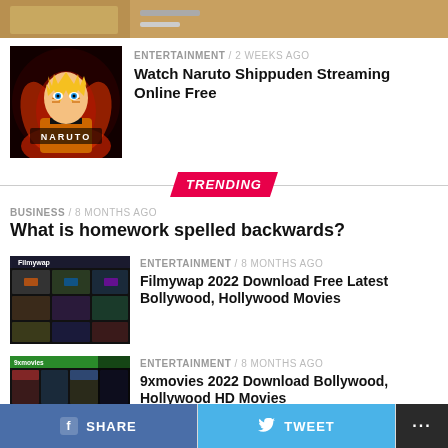[Figure (photo): Partial thumbnail image at top, tan/brown colored content]
[Figure (photo): Naruto anime character thumbnail with dark red background and NARUTO text]
ENTERTAINMENT / 2 weeks ago
Watch Naruto Shippuden Streaming Online Free
TRENDING
BUSINESS / 8 months ago
What is homework spelled backwards?
[Figure (screenshot): Filmywap website screenshot showing movie grid thumbnails]
ENTERTAINMENT / 8 months ago
Filmywap 2022 Download Free Latest Bollywood, Hollywood Movies
[Figure (screenshot): 9xmovies website screenshot showing movie grid thumbnails with green header]
ENTERTAINMENT / 8 months ago
9xmovies 2022 Download Bollywood, Hollywood HD Movies